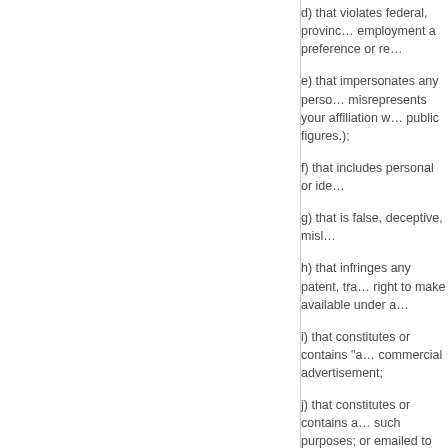d) that violates federal, provincial, state, or local laws or regulations or rules, including but not limited to those prohibiting discrimination or requiring in employment a preference or re…
e) that impersonates any person or entity, including, but not limited to, a job posting site employee or volunteer, or falsely states or otherwise misrepresents your affiliation with a person or entity, or that uses the name of or refers to specific real people, particularly well-known or public figures.);
f) that includes personal or ide…
g) that is false, deceptive, misl…
h) that infringes any patent, tra… right to make available under a…
i) that constitutes or contains "a… commercial advertisement;
j) that constitutes or contains a… such purposes; or emailed to m… products or commercial interes…
k) that includes links to comme…
l) that advertises any illegal se… without limitation items the sale…
m) that contains software virus… computer software or hardware…
n) that disrupts the normal flow…